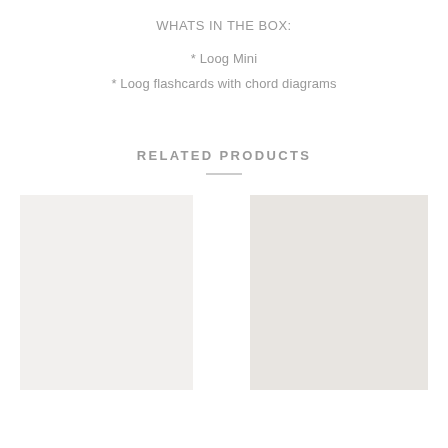WHATS IN THE BOX:
* Loog Mini
* Loog flashcards with chord diagrams
RELATED PRODUCTS
[Figure (other): Two product image placeholders side by side, left is light gray, right is slightly darker gray]
[Figure (other): Second product image placeholder]